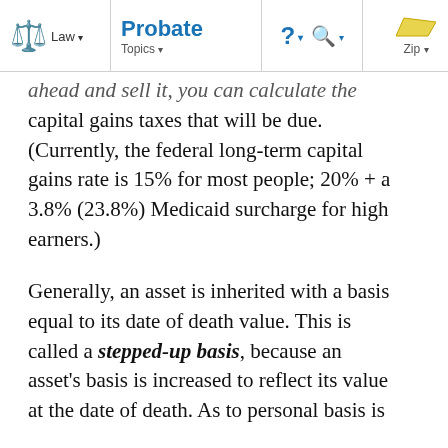Law | Probate | Topics | ? | Search | Zip
ahead and sell it, you can calculate the capital gains taxes that will be due. (Currently, the federal long-term capital gains rate is 15% for most people; 20% + a 3.8% (23.8%) Medicaid surcharge for high earners.)
Generally, an asset is inherited with a basis equal to its date of death value. This is called a stepped-up basis, because an asset's basis is increased to reflect its value at the date of death. As to personal basis is